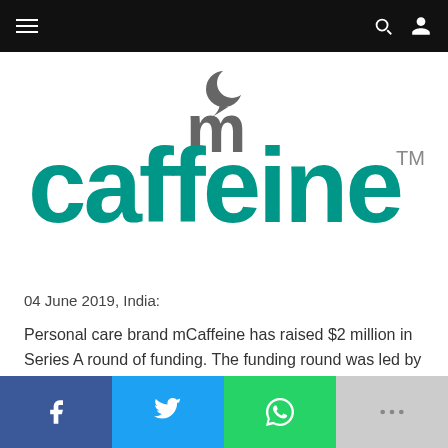Navigation bar with hamburger menu, search and user icons
[Figure (logo): mCaffeine brand logo — teal lowercase 'mcaffeine' text with a crescent moon icon above the 'm' and TM mark]
04 June 2019, India:
Personal care brand mCaffeine has raised $2 million in Series A round of funding. The funding round was led by RP-SG Ventures.
Social share buttons: Facebook, Twitter, WhatsApp, More